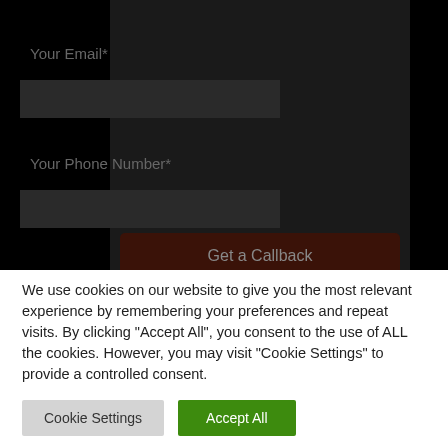Your Email*
Your Phone Number*
Get a Callback
We use cookies on our website to give you the most relevant experience by remembering your preferences and repeat visits. By clicking “Accept All”, you consent to the use of ALL the cookies. However, you may visit “Cookie Settings” to provide a controlled consent.
Cookie Settings
Accept All